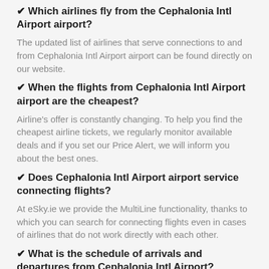✔ Which airlines fly from the Cephalonia Intl Airport airport?
The updated list of airlines that serve connections to and from Cephalonia Intl Airport airport can be found directly on our website.
✔ When the flights from Cephalonia Intl Airport airport are the cheapest?
Airline's offer is constantly changing. To help you find the cheapest airline tickets, we regularly monitor available deals and if you set our Price Alert, we will inform you about the best ones.
✔ Does Cephalonia Intl Airport airport service connecting flights?
At eSky.ie we provide the MultiLine functionality, thanks to which you can search for connecting flights even in cases of airlines that do not work directly with each other.
✔ What is the schedule of arrivals and departures from Cephalonia Intl Airport?